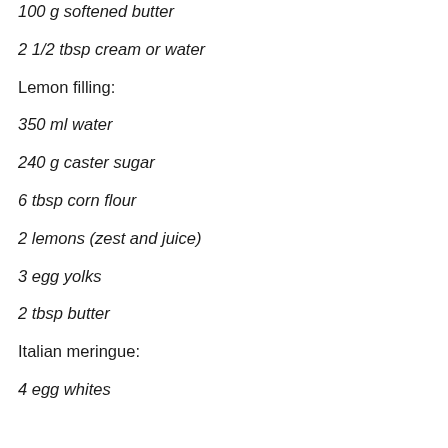100 g softened butter
2 1/2 tbsp cream or water
Lemon filling:
350 ml water
240 g caster sugar
6 tbsp corn flour
2 lemons (zest and juice)
3 egg yolks
2 tbsp butter
Italian meringue:
4 egg whites